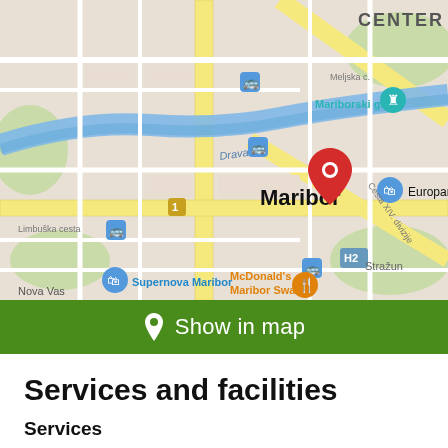[Figure (map): Google Maps screenshot showing Maribor, Slovenia with a red location pin in the center. Visible labels include CENTER, Mariborski grad, Drava, Maribor, Europark, Supernova Maribor, McDonald's Maribor Swaty, Nova Vas, Stražun, Limbuška cesta, Meljska c., Cesta XIV. divizije, H2 highway marker, and blue transit stop icons.]
Show in map
Services and facilities
Services
Wi-Fi access